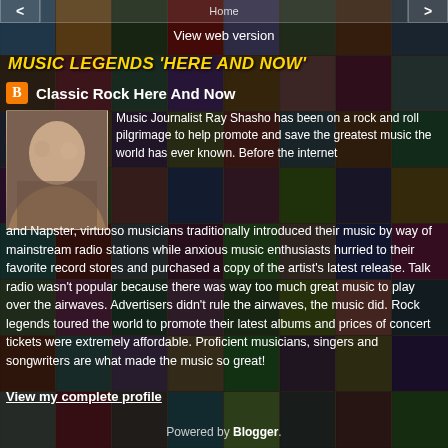< Home >
View web version
MUSIC LEGENDS 'HERE AND NOW'
Classic Rock Here And Now
Music Journalist Ray Shasho has been on a rock and roll pilgrimage to help promote and save the greatest music the world has ever known. Before the internet and Napster, virtuoso musicians traditionally introduced their music by way of mainstream radio stations while anxious music enthusiasts hurried to their favorite record stores and purchased a copy of the artist's latest release. Talk radio wasn't popular because there was way too much great music to play over the airwaves. Advertisers didn't rule the airwaves, the music did. Rock legends toured the world to promote their latest albums and prices of concert tickets were extremely affordable. Proficient musicians, singers and songwriters are what made the music so great!
View my complete profile
Powered by Blogger.